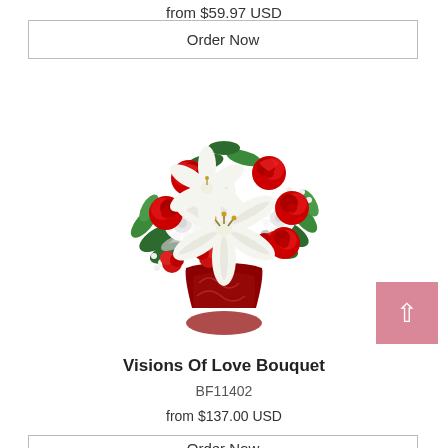from $59.97 USD
Order Now
[Figure (photo): A floral bouquet arrangement featuring red roses, white lilies, red carnations, white chrysanthemums, and green foliage in a red vase.]
Visions Of Love Bouquet
BF11402
from $137.00 USD
Order Now